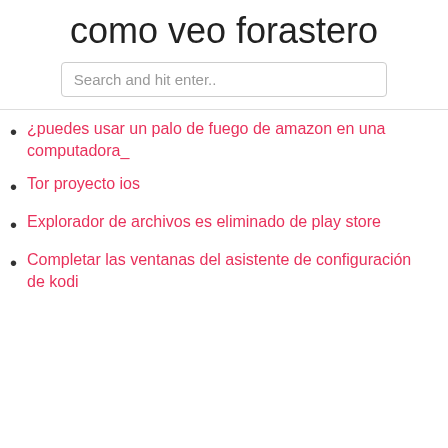como veo forastero
Search and hit enter..
¿puedes usar un palo de fuego de amazon en una computadora_
Tor proyecto ios
Explorador de archivos es eliminado de play store
Completar las ventanas del asistente de configuración de kodi